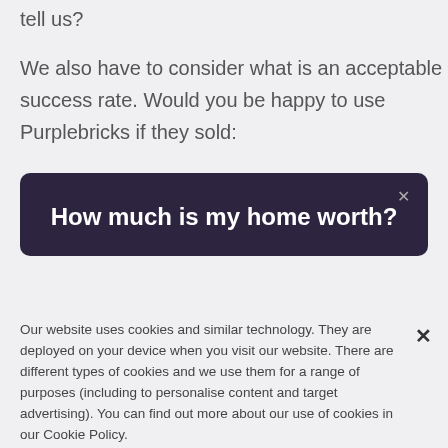tell us?
We also have to consider what is an acceptable success rate. Would you be happy to use Purplebricks if they sold:
[Figure (screenshot): Dark purple banner with close button (×) and bold white heading 'How much is my home worth?']
Our website uses cookies and similar technology. They are deployed on your device when you visit our website. There are different types of cookies and we use them for a range of purposes (including to personalise content and target advertising). You can find out more about our use of cookies in our Cookie Policy.
Cookies Settings
Accept All Cookies